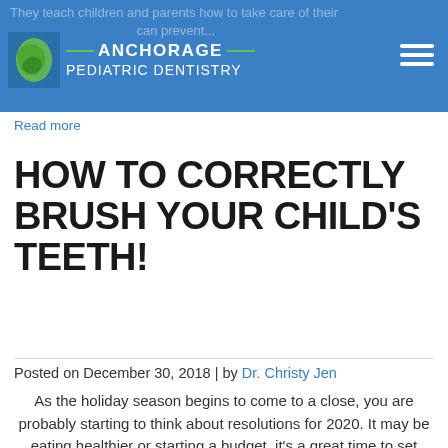Anchorage Pediatric Dentistry
Read more
HOW TO CORRECTLY BRUSH YOUR CHILD'S TEETH!
Posted on December 30, 2018 | by Dr. Christy Jen
As the holiday season begins to come to a close, you are probably starting to think about resolutions for 2020. It may be eating healthier or starting a budget, it's a great time to set these goals. While you are making a list of resolutions for 2020, the pediatric dentists at Anchorage